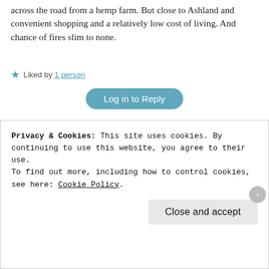across the road from a hemp farm. But close to Ashland and convenient shopping and a relatively low cost of living. And chance of fires slim to none.
Liked by 1 person
Log in to Reply
Patti Aliventi
May 19, 2020 at 4:01 pm
I'm not planning on selling, especially after this. We've been able to live a lot more closer to normal than many other people I know. The worst is school and daycare being closed. Other than that we've done better than most, I think.
Privacy & Cookies: This site uses cookies. By continuing to use this website, you agree to their use.
To find out more, including how to control cookies, see here: Cookie Policy
Close and accept